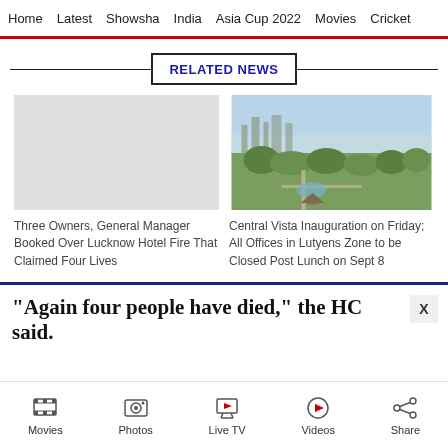Home | Latest | Showsha | India | Asia Cup 2022 | Movies | Cricket
RELATED NEWS
[Figure (photo): Gray placeholder image for hotel fire article]
Three Owners, General Manager Booked Over Lucknow Hotel Fire That Claimed Four Lives
[Figure (photo): Aerial view of Central Vista, green trees and city skyline]
Central Vista Inauguration on Friday; All Offices in Lutyens Zone to be Closed Post Lunch on Sept 8
"Again four people have died," the HC said.
Movies | Photos | Live TV | Videos | Share